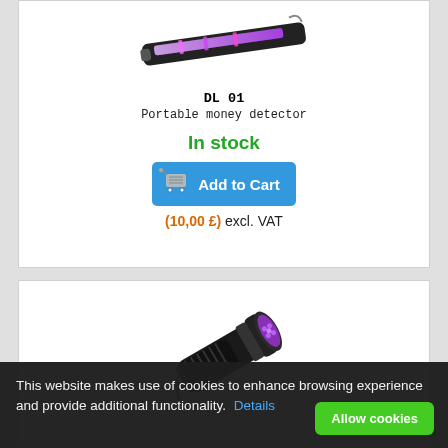[Figure (photo): UV tube lamp / portable money detector device shown from above on white background]
DL 01
Portable money detector
In stock
[Figure (other): Add to Cart button with shopping cart icon]
(10,00 £) excl. VAT
[Figure (photo): Black UV flashlight/torch shown diagonally on white background]
This website makes use of cookies to enhance browsing experience and provide additional functionality. Details
Allow cookies